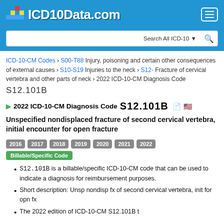ICD10Data.com
ICD-10-CM Codes › S00-T88 Injury, poisoning and certain other consequences of external causes › S10-S19 Injuries to the neck › S12- Fracture of cervical vertebra and other parts of neck › 2022 ICD-10-CM Diagnosis Code S12.101B
2022 ICD-10-CM Diagnosis Code S12.101B
Unspecified nondisplaced fracture of second cervical vertebra, initial encounter for open fracture
2016 2017 2018 2019 2020 2021 2022 Billable/Specific Code
S12.101B is a billable/specific ICD-10-CM code that can be used to indicate a diagnosis for reimbursement purposes.
Short description: Unsp nondisp fx of second cervical vertebra, init for opn fx
The 2022 edition of ICD-10-CM S12.101B t